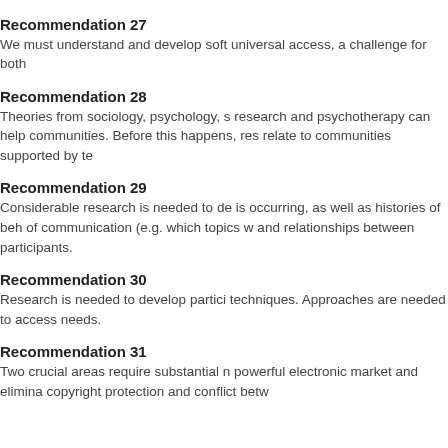how to support diversity online.
Recommendation 27
We must understand and develop soft universal access, a challenge for both
Recommendation 28
Theories from sociology, psychology, s research and psychotherapy can help communities. Before this happens, res relate to communities supported by te
Recommendation 29
Considerable research is needed to de is occurring, as well as histories of beh of communication (e.g. which topics w and relationships between participants
Recommendation 30
Research is needed to develop partici techniques. Approaches are needed to access needs.
Recommendation 31
Two crucial areas require substantial n powerful electronic market and elimina copyright protection and conflict betw